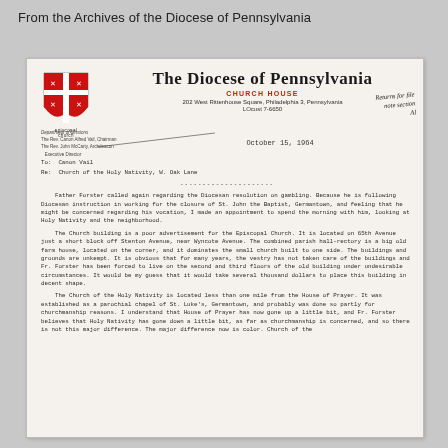From the Archives of the Diocese of Pennsylvania
[Figure (logo): Episcopal Church shield logo with red cross on white, red quadrants with white cross symbols, and 'episcopal church' text below]
The Diocese of Pennsylvania
CHURCH HOUSE
202 West Rittenhouse Square, Philadelphia 3, Pennsylvania
LOcust 7-6650
Returns for file
note section
Al
Department of Missions
The Rev. Canon Alfred Vail, Chairman
The Rev. John McCarty, Archdeacon
Executive Director
October 15, 1964
To:  Canon Vail
Re:  Church of the Holy Nativity, W. Oak Lane
Father Forster called again regarding the Diocesan resolution on gambling. Because he is following Diocesan instruction in working for the closure of St. John the Baptist, Germantown, and feeling that he might be concerned regarding his vocation, I made an appointment to spend the morning with him, looking at Holy Nativity and the neighborhood.
The Church building is a poor advertisement for the Episcopal Church. It is located on 65th Avenue just a short block off Stenton Avenue, near Wyncote Avenue. The combined parish hall-rectory is a big old farm house, located on the corner, and it dominates the small church built to one side. The buildings and grounds are unkempt. It is obvious that for many years, the vestry has not taken care of the buildings and Fr. Forster has been forced to live on the second and third floors of the old building under undesirable circumstances. It would be my guess that it would take several thousand dollars to place this building in decent shape.
The Church of the Holy Nativity is located less than one mile from the House of Prayer. It was established as a parochial chapel of St. Luke's, Germantown, and probably was done so partly for churchmanship reasons. I understand that House of Prayer has now gone up a little bit, and Fr. Forster believes that Holy Nativity has gone down a little bit, as far as churchmanship is concerned, and so there is not this major difference. The major difference now is color. Church of the